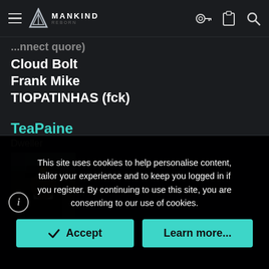MANKIND (logo navigation bar with hamburger menu, key icon, clipboard icon, search icon)
...nnect quore)
Cloud Bolt
Frank Mike
TIOPATINHAS (fck)
TeaPaine
Dweller
[Figure (photo): Avatar photo of TeaPaine, showing a person wearing a military-style hat, outdoor background]
This site uses cookies to help personalise content, tailor your experience and to keep you logged in if you register. By continuing to use this site, you are consenting to our use of cookies.
Accept
Learn more...